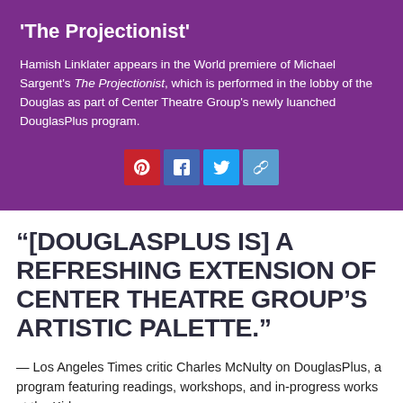'The Projectionist'
Hamish Linklater appears in the World premiere of Michael Sargent's The Projectionist, which is performed in the lobby of the Douglas as part of Center Theatre Group's newly luanched DouglasPlus program.
[Figure (infographic): Four social sharing icon buttons: Pinterest (red), Facebook (blue), Twitter (light blue), and a link/share icon (light blue)]
“[DOUGLASPLUS IS] A REFRESHING EXTENSION OF CENTER THEATRE GROUP’S ARTISTIC PALETTE.”
— Los Angeles Times critic Charles McNulty on DouglasPlus, a program featuring readings, workshops, and in-progress works at the Kirk